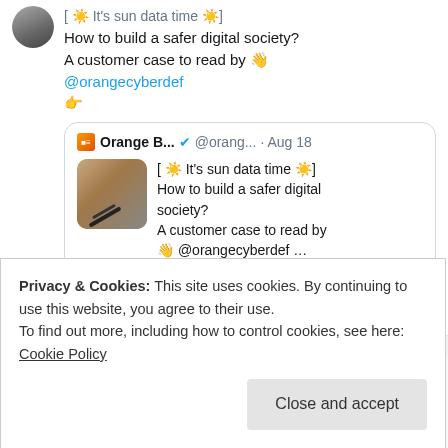[Figure (screenshot): Twitter/X screenshot showing a tweet about 'How to build a safer digital society? A customer case to read by @orangecyberdef' with a quoted tweet from Orange B... @orang... on Aug 18 containing the same text and a thumbnail image, plus comment and like icons.]
Privacy & Cookies: This site uses cookies. By continuing to use this website, you agree to their use.
To find out more, including how to control cookies, see here: Cookie Policy
Close and accept